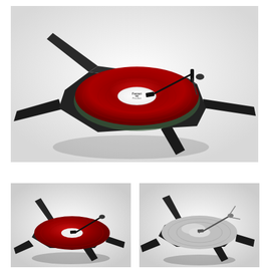[Figure (photo): Large product photo of a turntable with a red vinyl record on a black cross-shaped base, viewed from a 3/4 angle. A tonearm is visible on the right side. The background is white/light gray.]
[Figure (photo): Small product photo of the same red-record turntable viewed from a lower, more tilted angle, showing the turntable nearly on its side with the record face visible.]
[Figure (photo): Small product photo of the same turntable with a white/silver record, viewed from a similar low angle, showing the star-shaped base structure.]